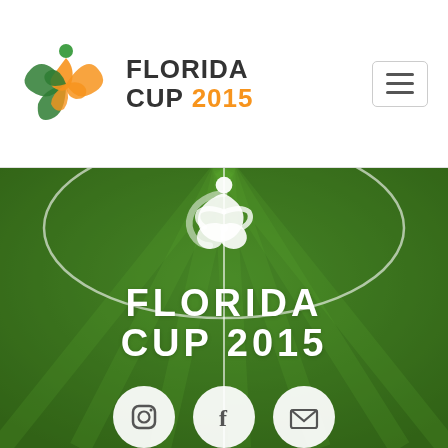Florida Cup 2015 logo and navigation header
[Figure (logo): Florida Cup 2015 logo: colorful swirling figure with green and orange colors, with text FLORIDA CUP 2015 in dark and orange]
[Figure (photo): Aerial view of a green soccer field with center circle and midfield line, overlaid with white Florida Cup 2015 logo and FLORIDA CUP 2015 text, with three social media icon buttons (Instagram, Facebook, Email) at bottom]